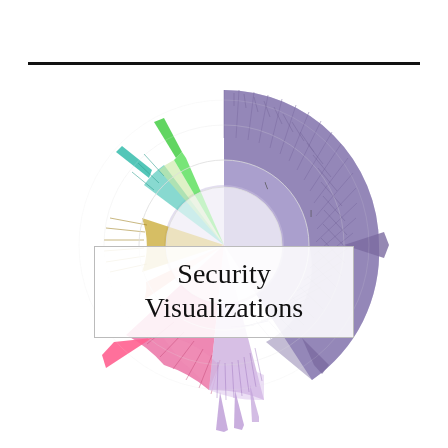[Figure (other): A radial/sunburst-style security visualization diagram showing colored fan/wedge segments arranged in a circular pattern. Segments are colored in purple (large dominant sector), pink/magenta, light purple/lavender, teal/cyan, green, yellow/gold, and salmon/peach. Each segment contains fine radial tick marks or lines suggesting data density. The diagram has concentric ring layers and several narrow spike-like extensions radiating outward from the main segments.]
Security Visualizations